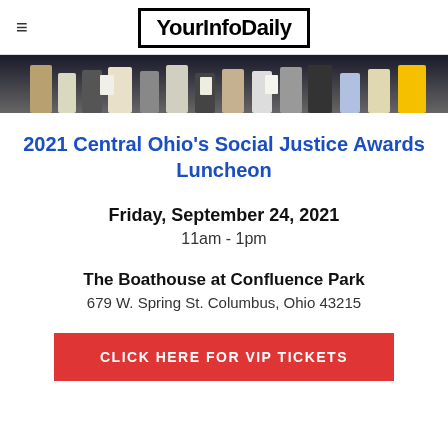YourInfoDaily
[Figure (photo): A cropped photo showing the lower bodies of a group of people standing together, wearing various pants and holding what appear to be white bags or papers.]
2021 Central Ohio's Social Justice Awards Luncheon
Friday, September 24, 2021
11am - 1pm
The Boathouse at Confluence Park
679 W. Spring St. Columbus, Ohio 43215
CLICK HERE FOR VIP TICKETS